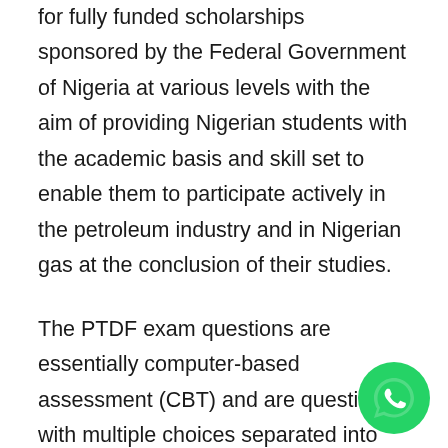for fully funded scholarships sponsored by the Federal Government of Nigeria at various levels with the aim of providing Nigerian students with the academic basis and skill set to enable them to participate actively in the petroleum industry and in Nigerian gas at the conclusion of their studies.
The PTDF exam questions are essentially computer-based assessment (CBT) and are questions with multiple choices separated into different categories. In 50 minutes the applicant is supposed to ask 100 questions.
The categories are in 3 formats; general knowledge questions, discipline-based
[Figure (logo): WhatsApp button icon — green circle with white phone handset symbol]